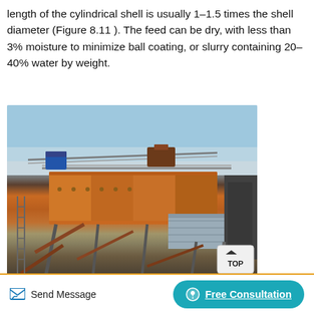length of the cylindrical shell is usually 1–1.5 times the shell diameter (Figure 8.11 ). The feed can be dry, with less than 3% moisture to minimize ball coating, or slurry containing 20–40% water by weight.
[Figure (photo): Photograph of industrial mining/milling equipment (likely a ball mill or screening machine) mounted on a steel frame structure outdoors, with orange-painted body and metallic supports, under a clear blue sky.]
Send Message   Free Consultation